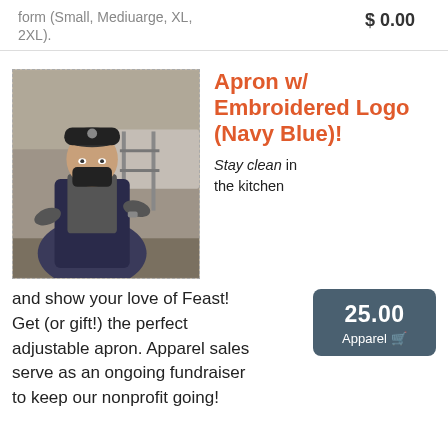form (Small, Medium, Large, XL, 2XL).
$ 0.00
Apron w/ Embroidered Logo (Navy Blue)!
[Figure (photo): Person wearing a navy blue apron with Feast logo embroidered, standing in a kitchen, wearing a black mask and cap]
Stay clean in the kitchen and show your love of Feast! Get (or gift!) the perfect adjustable apron. Apparel sales serve as an ongoing fundraiser to keep our nonprofit going!
25.00 Apparel